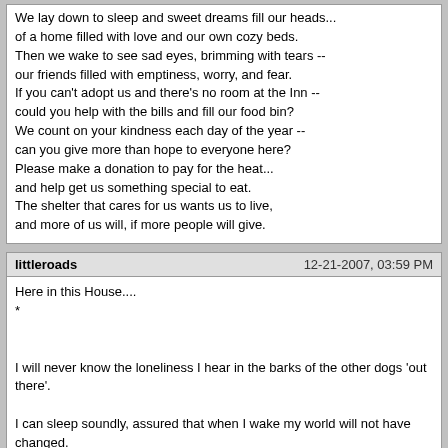We lay down to sleep and sweet dreams fill our heads...
of a home filled with love and our own cozy beds.
Then we wake to see sad eyes, brimming with tears --
our friends filled with emptiness, worry, and fear.
If you can't adopt us and there's no room at the Inn --
could you help with the bills and fill our food bin?
We count on your kindness each day of the year --
can you give more than hope to everyone here?
Please make a donation to pay for the heat...
and help get us something special to eat.
The shelter that cares for us wants us to live,
and more of us will, if more people will give.
littleroads	12-21-2007, 03:59 PM
Here in this House....
*

I will never know the loneliness I hear in the barks of the other dogs 'out there'.

I can sleep soundly, assured that when I wake my world will not have changed.

I will never know hunger, or the fear of not knowing if I'll eat.

I will not shiver in the cold, or grow weary from the heat.

I will feel the sun's heat, and the rain's coolness,

and be allowed to smell all that can reach my nose.

My fur will shine, and never be dirty or matted.


Here in this house...